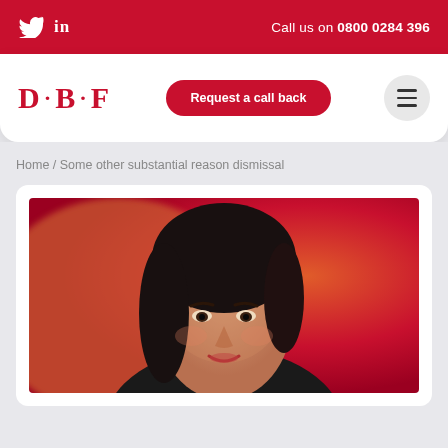Twitter LinkedIn | Call us on 0800 0284 396
[Figure (logo): DBF law firm logo with red D·B·F lettering, Request a call back button, and hamburger menu]
Home / Some other substantial reason dismissal
[Figure (photo): A woman with dark hair smiling, photographed against a red/orange blurred background, cropped portrait]